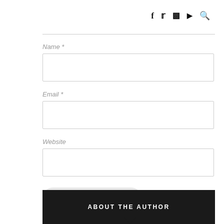f  t  [instagram]  [youtube]  [search]
Name *
Email *
Website
POST COMMENT
ABOUT THE AUTHOR